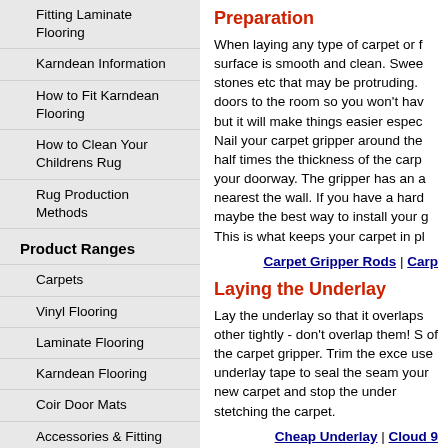Fitting Laminate Flooring
Karndean Information
How to Fit Karndean Flooring
How to Clean Your Childrens Rug
Rug Production Methods
Product Ranges
Carpets
Vinyl Flooring
Laminate Flooring
Karndean Flooring
Coir Door Mats
Accessories & Fitting Tools
Adhesives & Tapes
Floor Cleaning Products
Rugs
Wood Laminate Flooring Underlay
Carpet Underlay
Preparation
When laying any type of carpet or f surface is smooth and clean. Swee stones etc that may be protruding. doors to the room so you won't hav but it will make things easier espec Nail your carpet gripper around the half times the thickness of the carp your doorway. The gripper has an a nearest the wall. If you have a hard maybe the best way to install your g This is what keeps your carpet in pl
Carpet Gripper Rods | Carp
Laying the Underlay
Lay the underlay so that it overlaps other tightly - don't overlap them! S of the carpet gripper. Trim the exce use underlay tape to seal the seam your new carpet and stop the under stetching the carpet.
Cheap Underlay | Cloud 9
Laying the Carpet
To install carpet properly, you need the floor by about 4 inches. The ove properly. To cut your first section